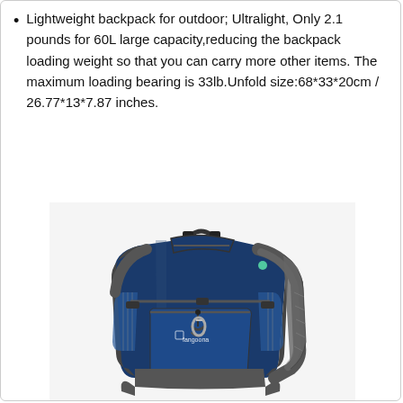Lightweight backpack for outdoor; Ultralight, Only 2.1 pounds for 60L large capacity,reducing the backpack loading weight so that you can carry more other items. The maximum loading bearing is 33lb.Unfold size:68*33*20cm / 26.77*13*7.87 inches.
[Figure (photo): A navy blue and dark gray outdoor hiking backpack (60L) with multiple compartments, buckle straps, zippered pockets, mesh shoulder straps, and a hanging hook. Brand label reads 'fangoona' on the front pocket.]